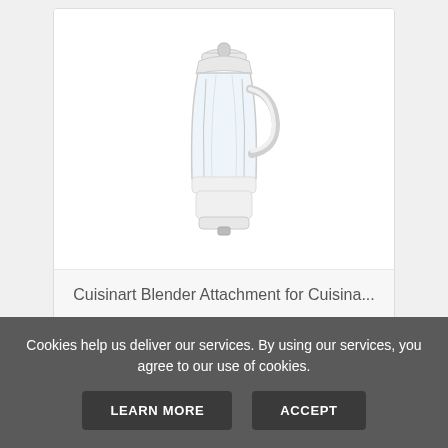[Figure (photo): A glass blender jar with white base/lid on white background]
Cuisinart Blender Attachment for Cuisina...
$54.45 $49.99
VIEW
BUY AT AMAZON
Cookies help us deliver our services. By using our services, you agree to our use of cookies.
LEARN MORE
ACCEPT